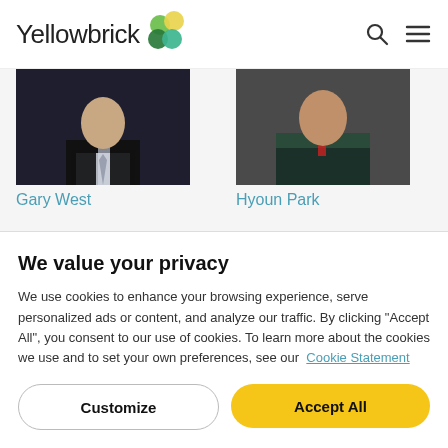[Figure (logo): Yellowbrick logo with colorful overlapping circles (green, yellow) and the text 'Yellowbrick']
[Figure (photo): Cropped photo of Gary West in a dark suit with a light patterned tie]
Gary West
[Figure (photo): Cropped photo of Hyoun Park in a dark top]
Hyoun Park
We value your privacy
We use cookies to enhance your browsing experience, serve personalized ads or content, and analyze our traffic. By clicking "Accept All", you consent to our use of cookies. To learn more about the cookies we use and to set your own preferences, see our Cookie Statement
Customize
Accept All